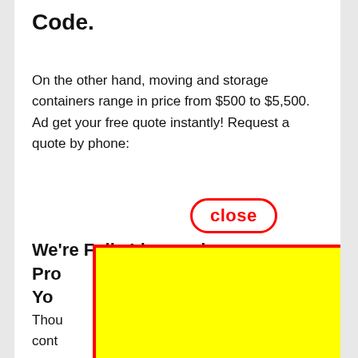Code.
On the other hand, moving and storage containers range in price from $500 to $5,500. Ad get your free quote instantly! Request a quote by phone:
[Figure (screenshot): A red-outlined oval button with the word 'close' in red bold text on white background, serving as a UI close button overlay]
We're Fully Licensed Pro... Yo...
Thou... he cont... to actu... ving crew... estim...
[Figure (other): A large yellow rectangle with a thick red border overlaying the lower portion of the page, obscuring content beneath it]